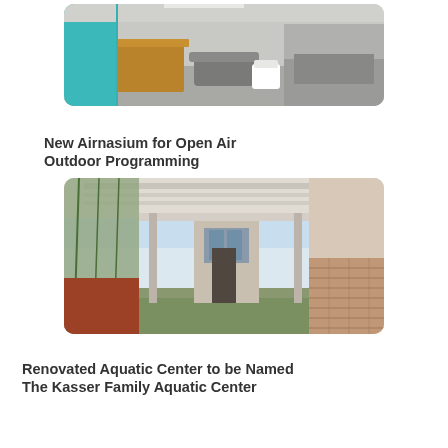[Figure (photo): Architectural rendering of an interior space with a wooden reception desk, gray sofas, teal/blue accent walls, and open lounge area.]
New Airnasium for Open Air Outdoor Programming
[Figure (photo): Architectural rendering of an open-air outdoor corridor/airnasium with exposed wooden ceiling structure, brick walls, greenery, and building entrance in the background.]
Renovated Aquatic Center to be Named The Kasser Family Aquatic Center